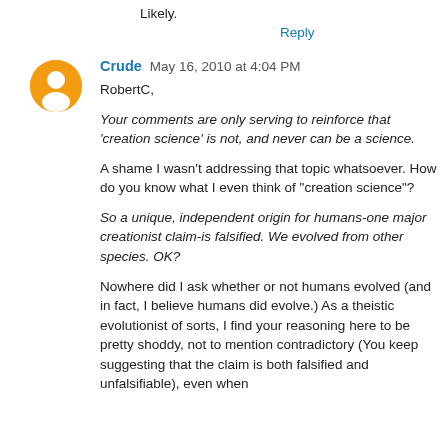Likely.
Reply
Crude  May 16, 2010 at 4:04 PM
RobertC,
Your comments are only serving to reinforce that 'creation science' is not, and never can be a science.
A shame I wasn't addressing that topic whatsoever. How do you know what I even think of "creation science"?
So a unique, independent origin for humans-one major creationist claim-is falsified. We evolved from other species. OK?
Nowhere did I ask whether or not humans evolved (and in fact, I believe humans did evolve.) As a theistic evolutionist of sorts, I find your reasoning here to be pretty shoddy, not to mention contradictory (You keep suggesting that the claim is both falsified and unfalsifiable), even when